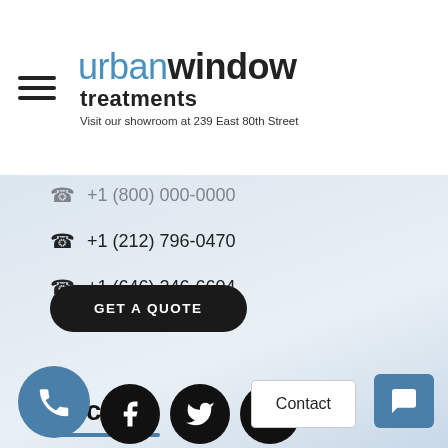[Figure (logo): Urban Window Treatments logo with hamburger menu icon and address]
+1 (800) 000-0000 (faded)
+1 (212) 796-0470
+1 (646) 246-6604
GET A QUOTE
Social
Get in touch with us through social media or keep track of our latest projects and innovations in the field.
[Figure (illustration): Phone call bubble (blue circle), Facebook, Twitter, Pinterest social icons, Contact button, Chat button]